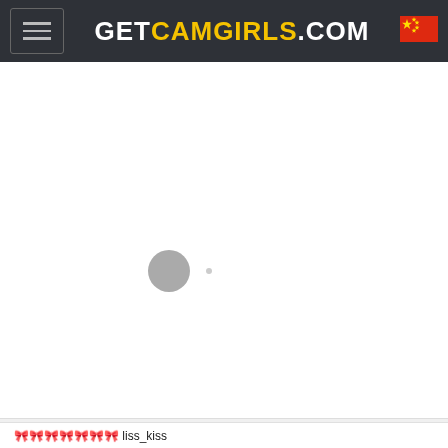GETCAMGIRLS.COM
[Figure (screenshot): White blank loading area with a grey spinner circle and a small grey dot, indicating a loading state on the webcam site.]
🎀🎀🎀🎀🎀🎀🎀 liss_kiss